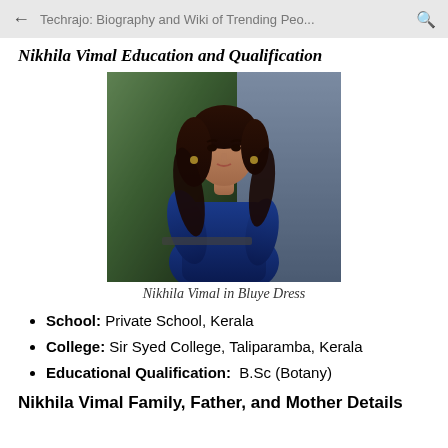← Techrajo: Biography and Wiki of Trending Peo... 🔍
Nikhila Vimal Education and Qualification
[Figure (photo): Photo of Nikhila Vimal wearing a blue dress, with long curly dark hair, sitting and looking to the side.]
Nikhila Vimal in Bluye Dress
School: Private School, Kerala
College: Sir Syed College, Taliparamba, Kerala
Educational Qualification:  B.Sc (Botany)
Nikhila Vimal Family, Father, and Mother Details